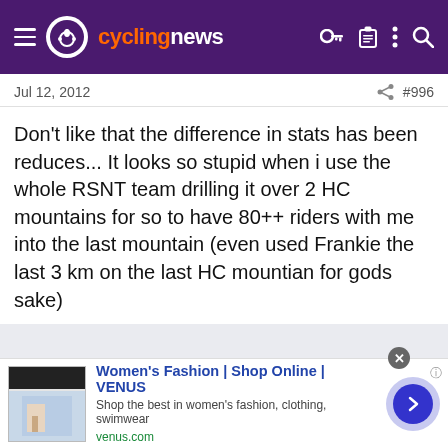cyclingnews
Jul 12, 2012   #996
Don't like that the difference in stats has been reduces... It looks so stupid when i use the whole RSNT team drilling it over 2 HC mountains for so to have 80++ riders with me into the last mountain (even used Frankie the last 3 km on the last HC mountian for gods sake)
[Figure (screenshot): Advertisement for Women's Fashion | Shop Online | VENUS. Shop the best in women's fashion, clothing, swimwear. venus.com]
Women's Fashion | Shop Online | VENUS - Shop the best in women's fashion, clothing, swimwear - venus.com